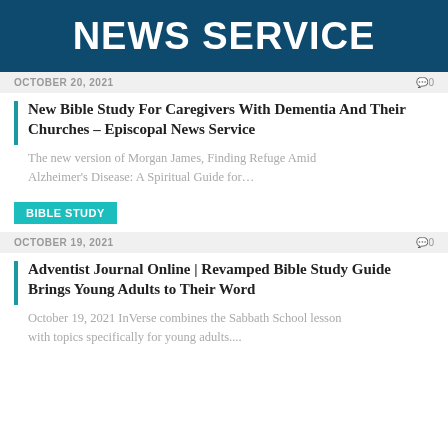NEWS SERVICE
OCTOBER 20, 2021   0
New Bible Study For Caregivers With Dementia And Their Churches – Episcopal News Service
The new version of Morgan James, Finding Refuge Amid Alzheimer's Disease: A Spiritual Guide for…
BIBLE STUDY
OCTOBER 19, 2021   0
Adventist Journal Online | Revamped Bible Study Guide Brings Young Adults to Their Word
October 19, 2021 InVerse combines the Sabbath School lesson with topics specifically for young adults....